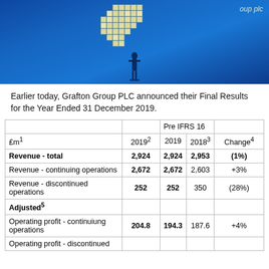[Figure (photo): Photo of a blue illuminated screen showing Grafton Group plc logo made of pixel/cube tiles, with a silhouette of a person and a presentation stand in front.]
Earlier today, Grafton Group PLC announced their Final Results for the Year Ended 31 December 2019.
| £m1 | 20192 | 2019 | 20183 | Change4 |
| --- | --- | --- | --- | --- |
| Revenue - total | 2,924 | 2,924 | 2,953 | (1%) |
| Revenue - continuing operations | 2,672 | 2,672 | 2,603 | +3% |
| Revenue - discontinued operations | 252 | 252 | 350 | (28%) |
| Adjusted5 |  |  |  |  |
| Operating profit - continuiung operations | 204.8 | 194.3 | 187.6 | +4% |
| Operating profit - discontinued |  |  |  |  |